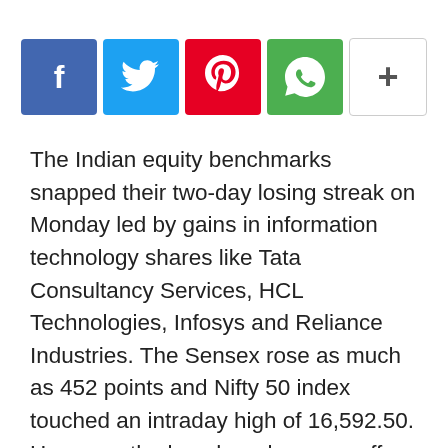[Figure (other): Social sharing buttons row: Facebook (blue), Twitter (cyan), Pinterest (red), WhatsApp (green), More/plus (white with border)]
The Indian equity benchmarks snapped their two-day losing streak on Monday led by gains in information technology shares like Tata Consultancy Services, HCL Technologies, Infosys and Reliance Industries. The Sensex rose as much as 452 points and Nifty 50 index touched an intraday high of 16,592.50. However, the benchmarks came off intraday highs in noon deals as booked profit at higher levels as traders turned cautious because of the extremely bearish market breadth, analysts said. The overall market breadth was extremely negative as 2,482 shares ended lower while 770 shares ended higher on the BSE.